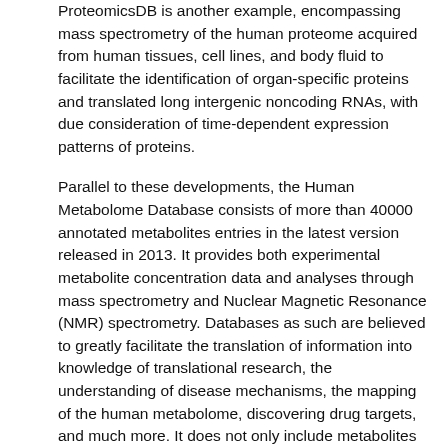ProteomicsDB is another example, encompassing mass spectrometry of the human proteome acquired from human tissues, cell lines, and body fluid to facilitate the identification of organ-specific proteins and translated long intergenic noncoding RNAs, with due consideration of time-dependent expression patterns of proteins.
Parallel to these developments, the Human Metabolome Database consists of more than 40000 annotated metabolites entries in the latest version released in 2013. It provides both experimental metabolite concentration data and analyses through mass spectrometry and Nuclear Magnetic Resonance (NMR) spectrometry. Databases as such are believed to greatly facilitate the translation of information into knowledge of translational research, the understanding of disease mechanisms, the mapping of the human metabolome, discovering drug targets, and much more. It does not only include metabolites found in the human body, but also those from food, drugs of environmental interest, and toxins. The database has been extended to also contain gut microbiome nutrients, plant metabolites, and synthetic chemicals, as well as molecules produced by the gut bacterial microbiota.
[Figure (screenshot): Cookie consent banner overlay with dark purple background. Text reads: 'This website uses cookies to ensure you get the best experience on our website.' with a 'Learn more' link. Below is a light pink/violet button with 'Got it!' text.]